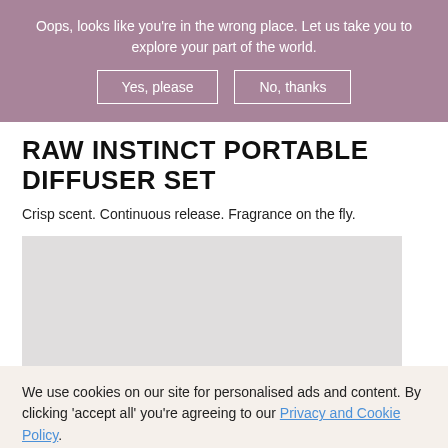Oops, looks like you're in the wrong place. Let us take you to explore your part of the world.
Yes, please
No, thanks
RAW INSTINCT PORTABLE DIFFUSER SET
Crisp scent. Continuous release. Fragrance on the fly.
[Figure (photo): Light grey image placeholder rectangle]
We use cookies on our site for personalised ads and content. By clicking 'accept all' you're agreeing to our Privacy and Cookie Policy.
Accept All